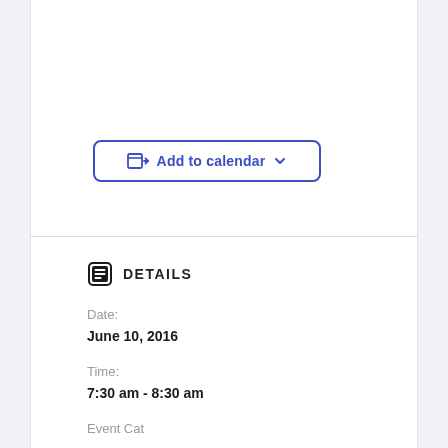[Figure (screenshot): Add to calendar button with calendar export icon and dropdown chevron, styled with blue border and text]
DETAILS
Date:
June 10, 2016
Time:
7:30 am - 8:30 am
Event Cat